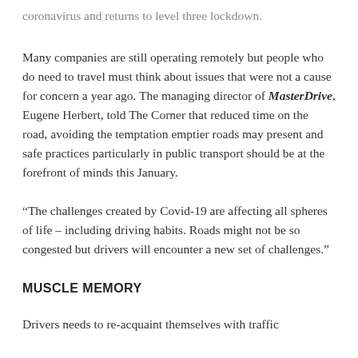coronavirus and returns to level three lockdown.
Many companies are still operating remotely but people who do need to travel must think about issues that were not a cause for concern a year ago. The managing director of MasterDrive, Eugene Herbert, told The Corner that reduced time on the road, avoiding the temptation emptier roads may present and safe practices particularly in public transport should be at the forefront of minds this January.
“The challenges created by Covid-19 are affecting all spheres of life – including driving habits. Roads might not be so congested but drivers will encounter a new set of challenges.”
MUSCLE MEMORY
Drivers needs to re-acquaint themselves with traffic